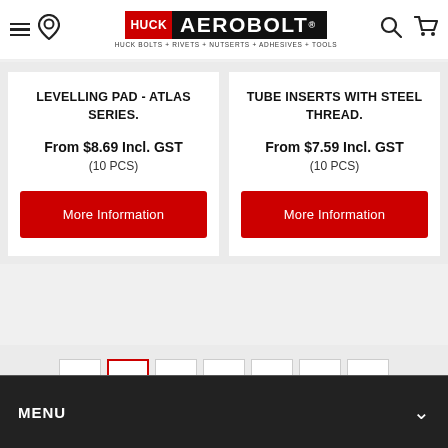Huck Aerobolt — HUCK BOLTS + RIVETS + NUTSERTS + ADHESIVES + TOOLS
LEVELLING PAD - ATLAS SERIES.
From $8.69 Incl. GST
(10 PCS)
More Information
TUBE INSERTS WITH STEEL THREAD.
From $7.59 Incl. GST
(10 PCS)
More Information
Pagination: < 1 2 3 ... 5 >
MENU